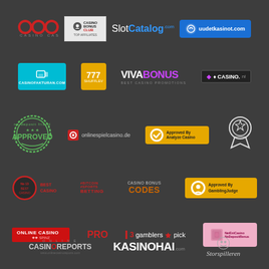[Figure (logo): CCC Casino logo with red circular letters]
[Figure (logo): Casino Bonus Club logo on grey background]
[Figure (logo): SlotCatalog.com logo in white and blue]
[Figure (logo): uudetkasinot.com logo on blue background]
[Figure (logo): casinofakturan.com logo on cyan background]
[Figure (logo): 777 Shufflev logo on yellow background]
[Figure (logo): VIVABONUS Best Casino Promotions logo]
[Figure (logo): Casino.nl logo with purple diamond]
[Figure (logo): APPROVED stamp in green]
[Figure (logo): onlinespielcasino.de logo]
[Figure (logo): Approved By Analyze Casino badge on yellow]
[Figure (logo): Award medal ribbon in white outline]
[Figure (logo): Best Casino circular logo in red]
[Figure (logo): Bitcoin Sports Betting logo in red]
[Figure (logo): Casino Bonus Codes logo in orange]
[Figure (logo): Approved By GamblingJudge badge on yellow]
[Figure (logo): Online Casino Spinz logo on red]
[Figure (logo): PRO text logo in red]
[Figure (logo): gamblers pick logo]
[Figure (logo): NetEntCasinoNoDepositBonus logo on pink]
[Figure (logo): Online CasinoReports logo]
[Figure (logo): KASINOHAI.com logo]
[Figure (logo): Storspilleren logo]